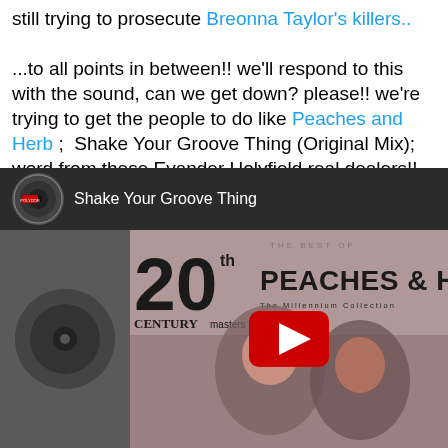still trying to prosecute Breonna Taylor's killers.. ...to all points in between!! we'll respond to this with the sound, can we get down? please!! we're trying to get the people to do like Peaches and Herb ;  Shake Your Groove Thing (Original Mix); word from these Evander Holyfield real dealers!!
[Figure (screenshot): YouTube video embed showing 'Shake Your Groove Thing' by Peaches & Herb. The thumbnail shows the album cover for '20th Century Masters - The Millennium Collection: The Best of Peaches & Herb' with two people (Peaches and Herb) and a YouTube play button overlay.]